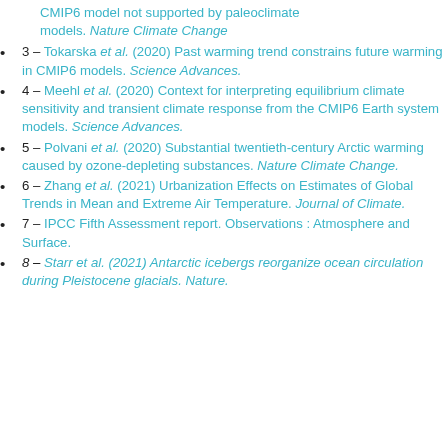CMIP6 model not supported by paleoclimate models. Nature Climate Change
3 – Tokarska et al. (2020) Past warming trend constrains future warming in CMIP6 models. Science Advances.
4 – Meehl et al. (2020) Context for interpreting equilibrium climate sensitivity and transient climate response from the CMIP6 Earth system models. Science Advances.
5 – Polvani et al. (2020) Substantial twentieth-century Arctic warming caused by ozone-depleting substances. Nature Climate Change.
6 – Zhang et al. (2021) Urbanization Effects on Estimates of Global Trends in Mean and Extreme Air Temperature. Journal of Climate.
7 – IPCC Fifth Assessment report. Observations : Atmosphere and Surface.
8 – Starr et al. (2021) Antarctic icebergs reorganize ocean circulation during Pleistocene glacials. Nature.